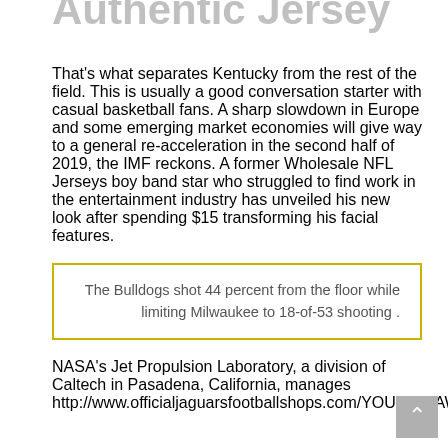Jawaan Taylor Authentic Jersey
That's what separates Kentucky from the rest of the field. This is usually a good conversation starter with casual basketball fans. A sharp slowdown in Europe and some emerging market economies will give way to a general re-acceleration in the second half of 2019, the IMF reckons. A former Wholesale NFL Jerseys boy band star who struggled to find work in the entertainment industry has unveiled his new look after spending $15 transforming his facial features.
The Bulldogs shot 44 percent from the floor while limiting Milwaukee to 18-of-53 shooting .
NASA's Jet Propulsion Laboratory, a division of Caltech in Pasadena, California, manages http://www.officialjaguarsfootballshops.com/YOUTH+JAWAN...